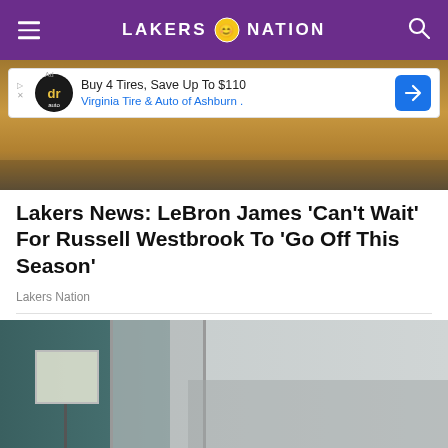LAKERS NATION
[Figure (screenshot): Advertisement banner: Buy 4 Tires, Save Up To $110 - Virginia Tire & Auto of Ashburn]
[Figure (photo): Basketball game action photo showing players' legs and feet on a hardwood court]
Lakers News: LeBron James 'Can't Wait' For Russell Westbrook To 'Go Off This Season'
Lakers Nation
[Figure (photo): Interior photo showing a home elevator installed in a modern kitchen setting with grey cabinets, wooden countertops, white chairs and a floor lamp]